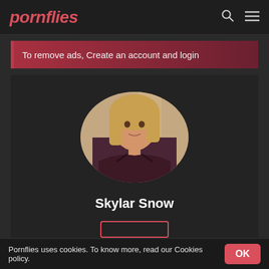pornflies
To remove ads, Create an account and login
[Figure (photo): Circular profile photo of a young woman with long blonde hair wearing a dark burgundy bra, posed in front of a light background with a column visible.]
Skylar Snow
Pornflies uses cookies. To know more, read our Cookies policy. OK